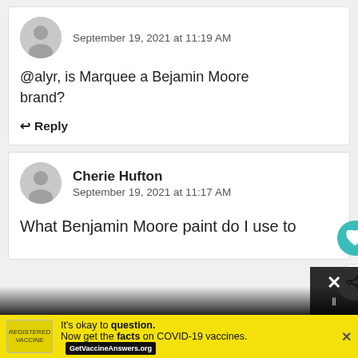September 19, 2021 at 11:19 AM
@alyr, is Marquee a Bejamin Moore brand?
↩ Reply
Cherie Hufton
September 19, 2021 at 11:17 AM
What Benjamin Moore paint do I use to
[Figure (infographic): Advertisement banner: yellow background with COVID-19 vaccine information from GetVaccineAnswers.org, text reads 'It's okay to question. Now get the facts on COVID-19 vaccines.']